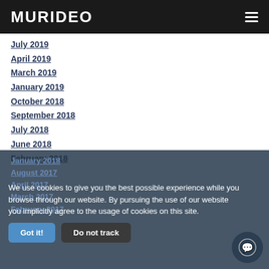MURIDEO
July 2019
April 2019
March 2019
January 2019
October 2018
September 2018
July 2018
June 2018
February 2018
January 2018
April 2017
March 2017
February 2017
We use cookies to give you the best possible experience while you browse through our website. By pursuing the use of our website you implicitly agree to the usage of cookies on this site.